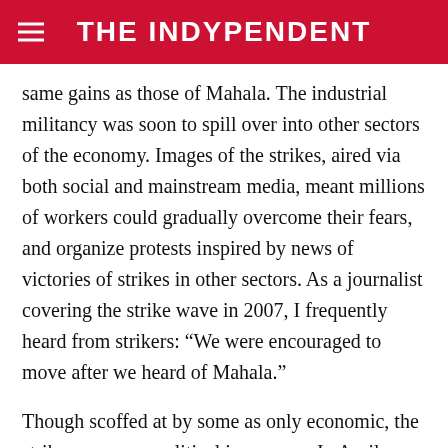THE INDYPENDENT
same gains as those of Mahala. The industrial militancy was soon to spill over into other sectors of the economy. Images of the strikes, aired via both social and mainstream media, meant millions of workers could gradually overcome their fears, and organize protests inspired by news of victories of strikes in other sectors. As a journalist covering the strike wave in 2007, I frequently heard from strikers: “We were encouraged to move after we heard of Mahala.”
Though scoffed at by some as only economic, the strike wave was political in essence. In April 2008, a mini revolt took place in the city of Mahala over the price of bread. Security forces put down the uprising in two days, leaving at least three dead and hundreds detained and tortured. The scenes from what became known as